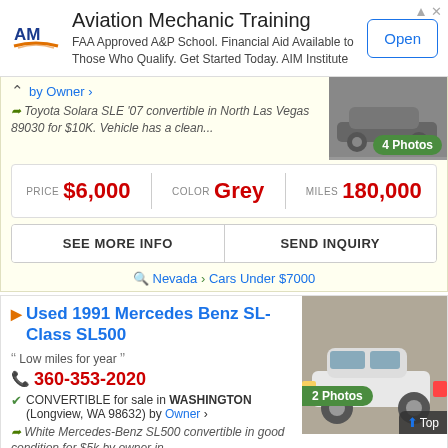[Figure (infographic): Aviation Mechanic Training advertisement banner with AIM Institute logo, description text, and Open button]
by Owner ›
Toyota Solara SLE '07 convertible in North Las Vegas 89030 for $10K. Vehicle has a clean...
PRICE $6,000 | COLOR Grey | MILES 180,000
SEE MORE INFO | SEND INQUIRY
Nevada › Cars Under $7000
Used 1991 Mercedes Benz SL-Class SL500
Low miles for year
360-353-2020
CONVERTIBLE for sale in WASHINGTON (Longview, WA 98632) by Owner ›
White Mercedes-Benz SL500 convertible in good condition for $5k by owner in...